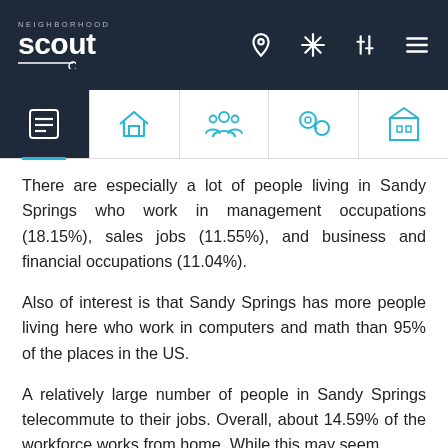NeighborhoodScout navigation header with logo and icons
There are especially a lot of people living in Sandy Springs who work in management occupations (18.15%), sales jobs (11.55%), and business and financial occupations (11.04%).
Also of interest is that Sandy Springs has more people living here who work in computers and math than 95% of the places in the US.
A relatively large number of people in Sandy Springs telecommute to their jobs. Overall, about 14.59% of the workforce works from home. While this may seem